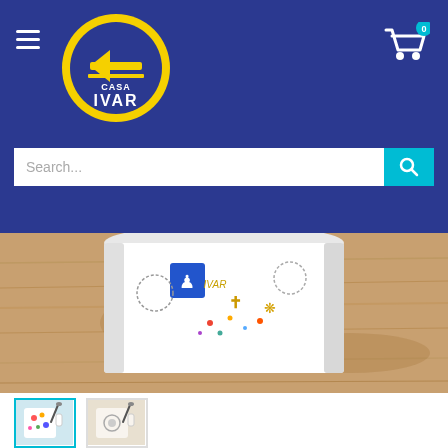[Figure (logo): Casa IVAR logo: yellow circle with blue background, left-pointing yellow arrow, text CASA IVAR in white]
[Figure (photo): Close-up of a white ceramic mug with colorful Camino de Santiago symbols and motifs on a wooden surface — top portion of mug visible]
[Figure (photo): Thumbnail 1 (active/selected): floral patterned ceramic mug with cyan border]
[Figure (photo): Thumbnail 2: ceramic mug with medallion design, partial view]